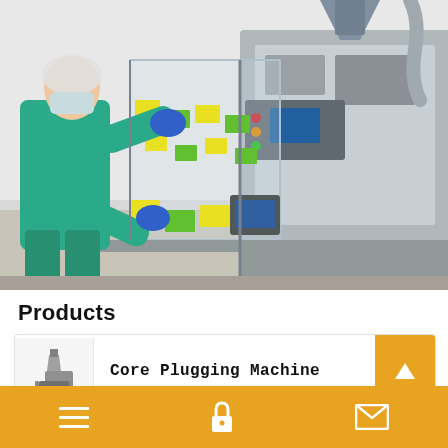[Figure (photo): A pharmaceutical or manufacturing worker in green scrubs, surgical mask, hair net, and blue gloves operating a large industrial packaging machine in a clean room environment. The machine has clear acrylic panels, colorful yellow and green labeled packets on a conveyor belt, and various metal components including hoppers and tubes.]
Products
Core Plugging Machine
[Figure (photo): Small thumbnail image of a Core Plugging Machine — a mechanical device on a stand.]
Navigation bar with menu, lock, and mail icons